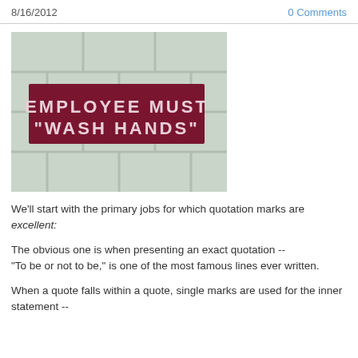8/16/2012   0 Comments
[Figure (photo): Photo of a sign on white tiles reading: EMPLOYEE MUST "WASH HANDS" — dark red/maroon rectangular sign with white raised letters mounted on white subway tiles]
We'll start with the primary jobs for which quotation marks are excellent:
The obvious one is when presenting an exact quotation -- "To be or not to be," is one of the most famous lines ever written.
When a quote falls within a quote, single marks are used for the inner statement --